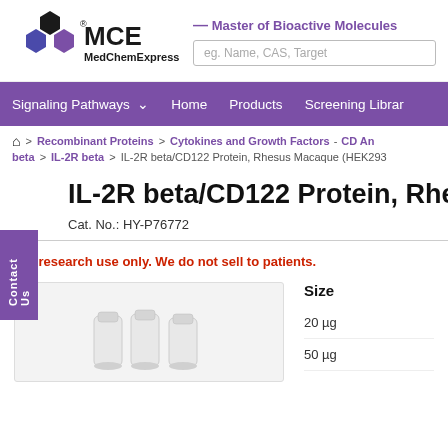[Figure (logo): MCE MedChemExpress logo with hexagon shapes in black and purple]
— Master of Bioactive Molecules
eg. Name, CAS, Target
Signaling Pathways  Home  Products  Screening Libraries
Recombinant Proteins > Cytokines and Growth Factors - CD Antigens and beta > IL-2R beta > IL-2R beta/CD122 Protein, Rhesus Macaque (HEK293...)
Contact Us
IL-2R beta/CD122 Protein, Rhesus M
Cat. No.: HY-P76772
For research use only. We do not sell to patients.
[Figure (photo): Product vials/tubes photograph on light grey background]
Size
20 µg
50 µg